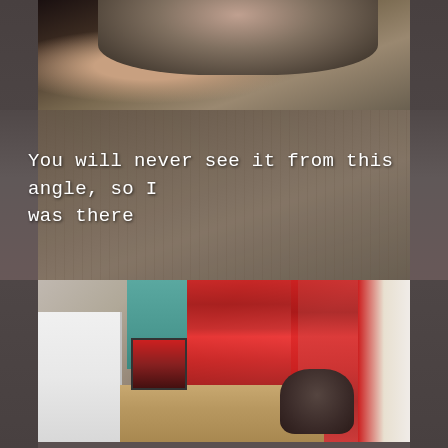[Figure (photo): Top photo showing a close-up of clothes/fabric items on what appears to be a bed or floor, dark tones with some pink/beige fabric visible]
You will never see it from this angle, so I was there
[Figure (photo): Bottom photo showing a bedroom/office room interior with red curtains, a white wardrobe, a computer desk with monitor, a chair, teal wall accent, and artwork on the wall]